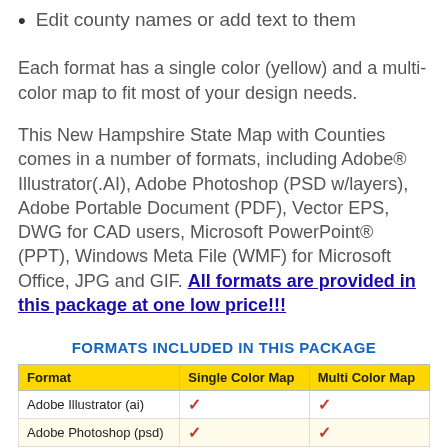Edit county names or add text to them
Each format has a single color (yellow) and a multi-color map to fit most of your design needs.
This New Hampshire State Map with Counties comes in a number of formats, including Adobe® Illustrator(.AI), Adobe Photoshop (PSD w/layers), Adobe Portable Document (PDF), Vector EPS, DWG for CAD users, Microsoft PowerPoint® (PPT), Windows Meta File (WMF) for Microsoft Office, JPG and GIF. All formats are provided in this package at one low price!!!
FORMATS INCLUDED IN THIS PACKAGE
| Format | Single Color Map | Multi Color Map |
| --- | --- | --- |
| Adobe Illustrator (ai) | ✓ | ✓ |
| Adobe Photoshop (psd) | ✓ | ✓ |